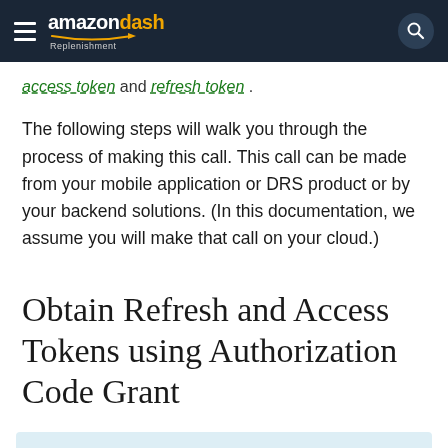amazon dash Replenishment
access token and refresh token .
The following steps will walk you through the process of making this call. This call can be made from your mobile application or DRS product or by your backend solutions. (In this documentation, we assume you will make that call on your cloud.)
Obtain Refresh and Access Tokens using Authorization Code Grant
Note: Requesting an access token and